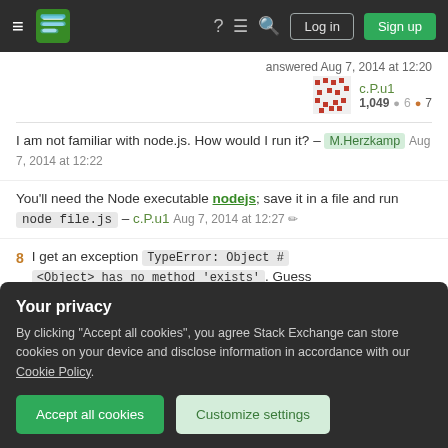Stack Exchange navigation bar with Log in and Sign up buttons
answered Aug 7, 2014 at 12:20
c.P.u1  1,049  6  7
I am not familiar with node.js. How would I run it? – M.Herzkamp  Aug 7, 2014 at 12:22
You'll need the Node executable nodejs; save it in a file and run node file.js – c.P.u1 Aug 7, 2014 at 12:27
8  I get an exception TypeError: Object #<Object> has no method 'exists'. Guess
Your privacy
By clicking "Accept all cookies", you agree Stack Exchange can store cookies on your device and disclose information in accordance with our Cookie Policy.
Accept all cookies  Customize settings
problem. – M.Herzkamp  Aug 7, 2014 at 13:26